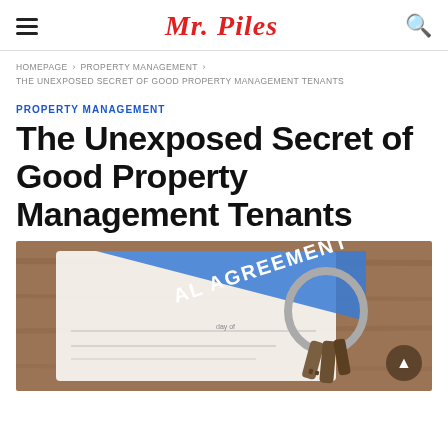Mr. Piles
HOMEPAGE > PROPERTY MANAGEMENT > THE UNEXPOSED SECRET OF GOOD PROPERTY MANAGEMENT TENANTS
PROPERTY MANAGEMENT
The Unexposed Secret of Good Property Management Tenants
[Figure (photo): A rental agreement document with keys on a wooden table, with a blue diagonal banner reading 'AL AGREEMENT']